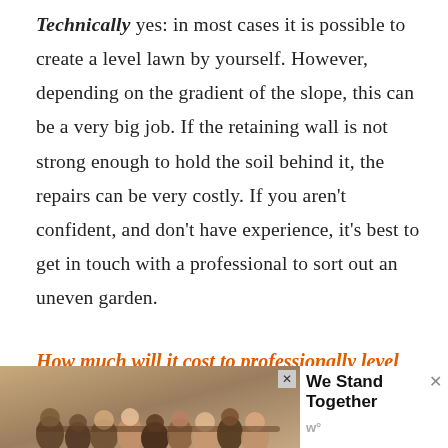Technically yes: in most cases it is possible to create a level lawn by yourself. However, depending on the gradient of the slope, this can be a very big job. If the retaining wall is not strong enough to hold the soil behind it, the repairs can be very costly. If you aren't confident, and don't have experience, it's best to get in touch with a professional to sort out an uneven garden.
How much will it cost to professionally level an uneven garden?
[Figure (photo): Advertisement banner showing a group of people with arms around each other (backs to camera), with text 'We Stand Together' and a logo, plus close buttons.]